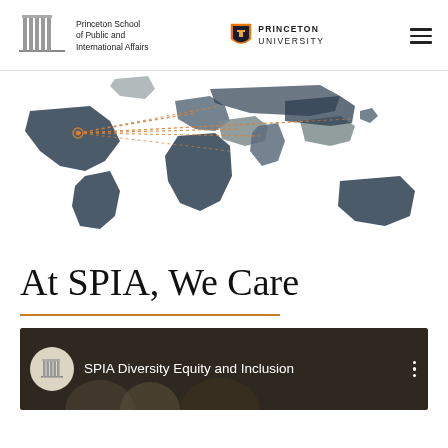Princeton School of Public and International Affairs | Princeton University
[Figure (map): World map with orange dotted lines radiating from a point on the left side toward various countries in Europe, Middle East, and Asia. Countries shown in dark navy and grey tones.]
At SPIA, We Care
[Figure (screenshot): Video thumbnail bar showing SPIA logo circle, text 'SPIA Diversity Equity and Inclusion', and three vertical dots menu icon, with people visible below on dark background.]